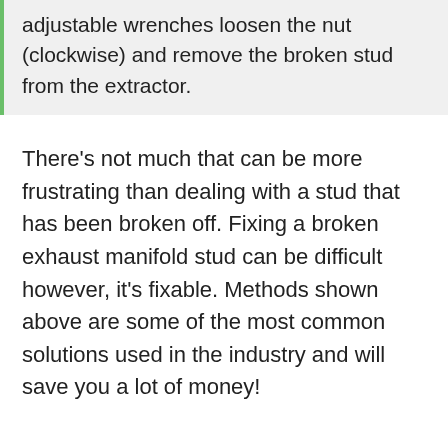adjustable wrenches loosen the nut (clockwise) and remove the broken stud from the extractor.
There's not much that can be more frustrating than dealing with a stud that has been broken off. Fixing a broken exhaust manifold stud can be difficult however, it's fixable. Methods shown above are some of the most common solutions used in the industry and will save you a lot of money!